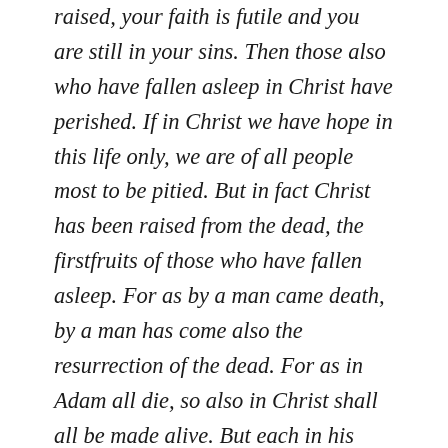raised, your faith is futile and you are still in your sins. Then those also who have fallen asleep in Christ have perished. If in Christ we have hope in this life only, we are of all people most to be pitied. But in fact Christ has been raised from the dead, the firstfruits of those who have fallen asleep. For as by a man came death, by a man has come also the resurrection of the dead. For as in Adam all die, so also in Christ shall all be made alive. But each in his own order: Christ the firstfruits, then at his coming those who belong to